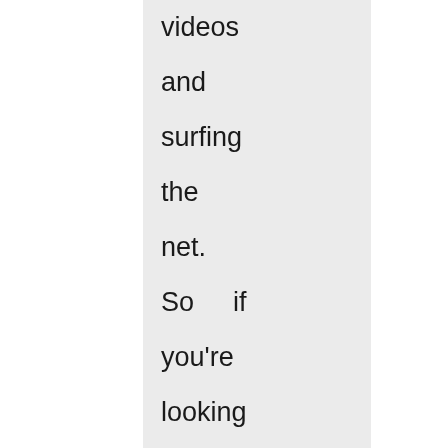videos and surfing the net. So if you're looking for a hybrid netbook/eReader, then you'll most likely enjoy the iPad just